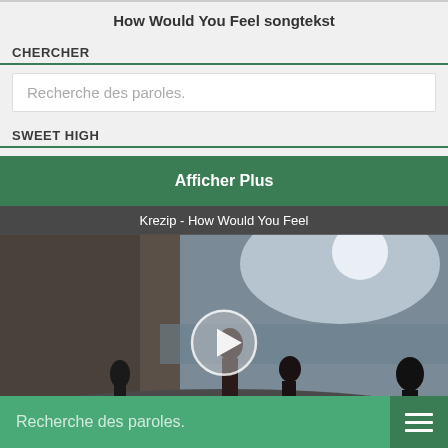How Would You Feel songtekst
CHERCHER
Recherche des paroles.
SWEET HIGH
Afficher Plus
[Figure (screenshot): Video thumbnail showing people standing on a beach in front of cliffs with a play button overlay. Title reads: Krezip - How Would You Feel]
Recherche des paroles.